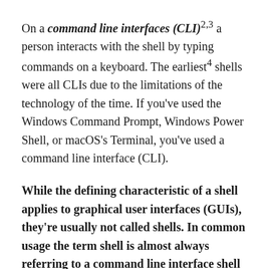On a command line interfaces (CLI)^2,3 a person interacts with the shell by typing commands on a keyboard. The earliest^4 shells were all CLIs due to the limitations of the technology of the time. If you've used the Windows Command Prompt, Windows Power Shell, or macOS's Terminal, you've used a command line interface (CLI).
While the defining characteristic of a shell applies to graphical user interfaces (GUIs), they're usually not called shells. In common usage the term shell is almost always referring to a command line interface shell — very often those shells developed for Unix/Unix-like